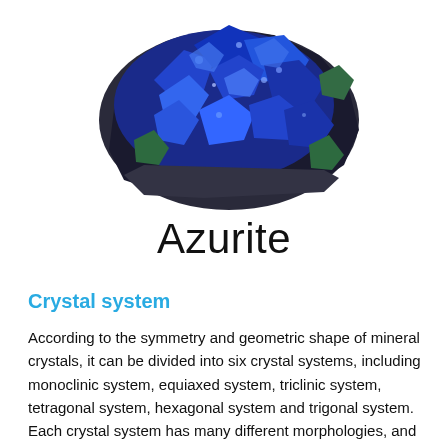[Figure (photo): Photo of azurite mineral specimen showing vivid blue crystalline surface with some green malachite patches, irregular rocky shape on white background]
Azurite
Crystal system
According to the symmetry and geometric shape of mineral crystals, it can be divided into six crystal systems, including monoclinic system, equiaxed system, triclinic system, tetragonal system, hexagonal system and trigonal system. Each crystal system has many different morphologies, and all morphologies in the same crystal system should be related to